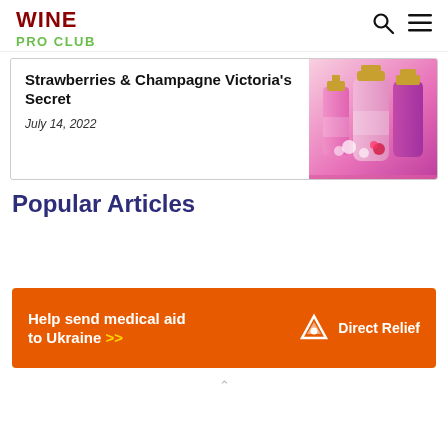WINE PRO CLUB
Strawberries & Champagne Victoria's Secret
July 14, 2022
[Figure (photo): Three pink Victoria's Secret Strawberries & Champagne body spray/lotion bottles with gold caps]
Popular Articles
[Figure (infographic): Orange advertisement banner: 'Help send medical aid to Ukraine >>' with Direct Relief logo on the right]